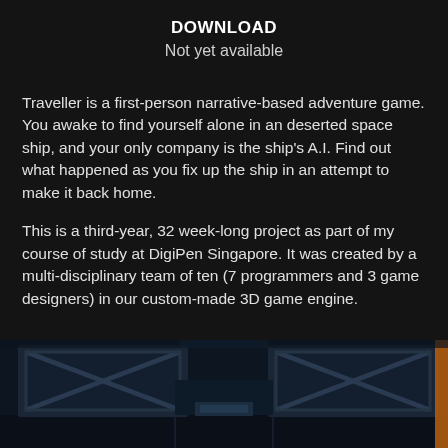DOWNLOAD
Not yet available
Traveller is a first-person narrative-based adventure game. You awake to find yourself alone in an deserted space ship, and your only company is the ship's A.I. Find out what happened as you fix up the ship in an attempt to make it back home.
This is a third-year, 32 week-long project as part of my course of study at DigiPen Singapore. It was created by a multi-disciplinary team of ten (7 programmers and 3 game designers) in our custom-made 3D game engine.
[Figure (screenshot): In-game screenshot showing a dark spaceship interior with blue-tinted walls, structural panels with X-shaped metal cross-bracing, and moody atmospheric lighting.]